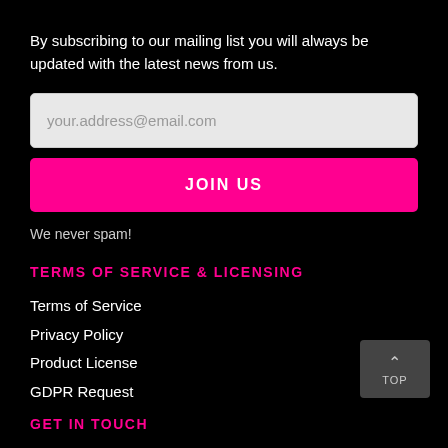By subscribing to our mailing list you will always be updated with the latest news from us.
[Figure (other): Email input field with placeholder 'your.address@email.com']
JOIN US
We never spam!
TERMS OF SERVICE & LICENSING
Terms of Service
Privacy Policy
Product License
GDPR Request
GET IN TOUCH